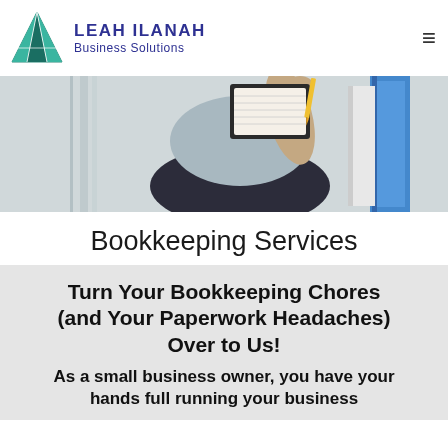[Figure (logo): Leah Ilanah Business Solutions logo with teal geometric triangle icon]
[Figure (photo): Close-up photo of a person writing in a notebook with a pencil, with filing binders visible in background]
Bookkeeping Services
Turn Your Bookkeeping Chores (and Your Paperwork Headaches) Over to Us!
As a small business owner, you have your hands full running your business